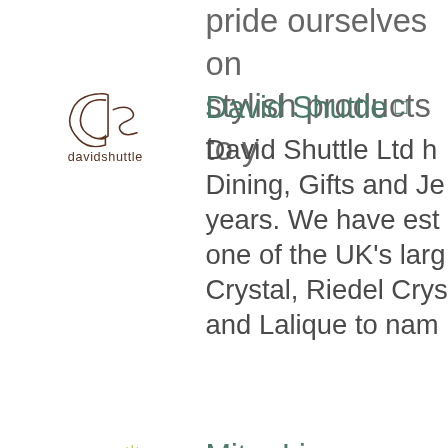pride ourselves on stylish products to y
[Figure (logo): David Shuttle logo: stylized 'ds' monogram in brown with 'davidshuttle' text below]
David Shuttle
David Shuttle Ltd h Dining, Gifts and Je years. We have est one of the UK's larg Crystal, Riedel Crys and Lalique to nam
[Figure (logo): Mitre for you logo: 'Mitre' in bold black with green asterisk/star, 'for you' in script below]
Mitre Linen
Mitre Linen are ma ft f i i i